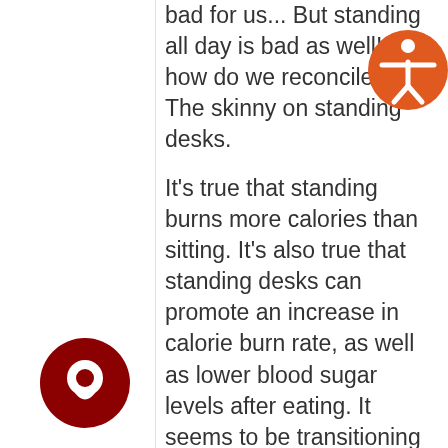bad for us... But standing all day is bad as well! So how do we reconcile this? The skinny on standing desks.

It's true that standing burns more calories than sitting. It's also true that standing desks can promote an increase in calorie burn rate, as well as lower blood sugar levels after eating. It seems to be transitioning well into the
[Figure (illustration): Orange circular accessibility icon showing a human figure with arms outstretched]
[Figure (illustration): Dark red circular chat/message bubble icon]